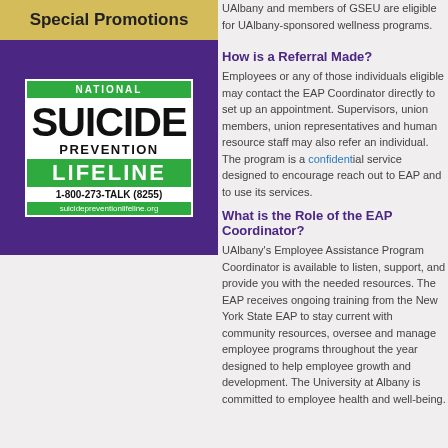Special Promotions
[Figure (logo): National Suicide Prevention Lifeline logo with phone number 1-800-273-TALK (8255) and website suicidepreventionlifeline.org]
UAlbany and members of GSEU are eligible for UAlbany-sponsored wellness programs.
How is a Referral Made?
Employees or any of those individuals eligible may contact the EAP Coordinator directly to set up an appointment. Supervisors, union members, union representatives and human resource staff may also refer an individual. The program is a confidential service designed to encourage reach out to EAP and to use its services.
What is the Role of the EAP Coordinator?
UAlbany's Employee Assistance Program Coordinator is available to listen, support, and provide you with the needed resources. The EAP receives ongoing training from the New York State EAP to stay current with community resources, oversee and manage employee programs throughout the year designed to help employee growth and development. The University at Albany is committed to employee health and well-being.